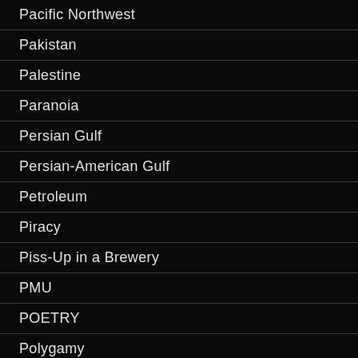Pacific Northwest
Pakistan
Palestine
Paranoia
Persian Gulf
Persian-American Gulf
Petroleum
Piracy
Piss-Up in a Brewery
PMU
POETRY
Polygamy